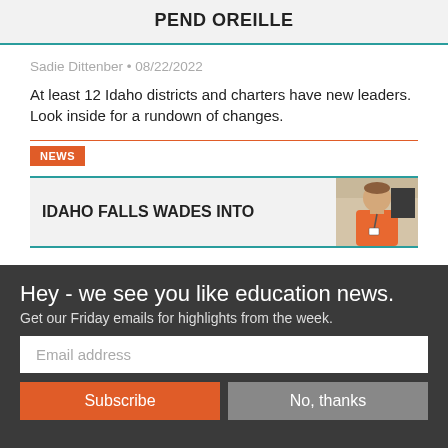PEND OREILLE
Sadie Dittenber • 08/22/2022
At least 12 Idaho districts and charters have new leaders. Look inside for a rundown of changes.
NEWS
IDAHO FALLS WADES INTO
[Figure (photo): Photo of a man wearing an orange shirt and lanyard badge, standing indoors]
Hey - we see you like education news.
Get our Friday emails for highlights from the week.
Email address
Subscribe
No, thanks